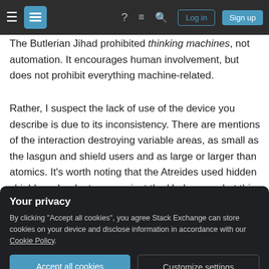Stack Exchange navigation bar with hamburger menu, logo, help, chat, search icons, Log in and Sign up buttons
The Butlerian Jihad prohibited thinking machines, not automation. It encourages human involvement, but does not prohibit everything machine-related.
Rather, I suspect the lack of use of the device you describe is due to its inconsistency. There are mentions of the interaction destroying variable areas, as small as the lasgun and shield users and as large or larger than atomics. It's worth noting that the Atreides used hidden shields as booby traps against the Harkonnen, but this was a desperate ploy.
Your privacy
By clicking "Accept all cookies", you agree Stack Exchange can store cookies on your device and disclose information in accordance with our Cookie Policy.
Accept all cookies   Customize settings